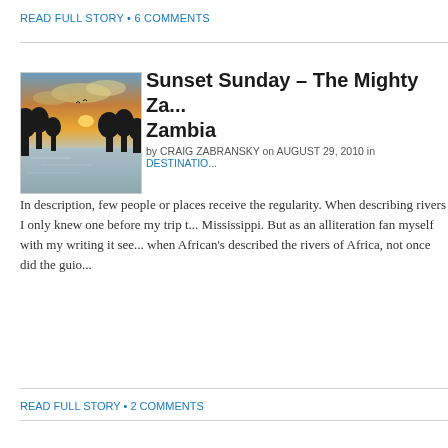READ FULL STORY • 6 COMMENTS
[Figure (photo): Silhouette of trees against a colorful sunset sky reflecting on water, Zambia]
Sunset Sunday – The Mighty Za... Zambia
by CRAIG ZABRANSKY on AUGUST 29, 2010 in DESTINATIO...
In description, few people or places receive the regularity. When describing rivers I only knew one before my trip t... Mississippi. But as an alliteration fan myself with my writing it see... when African's described the rivers of Africa, not once did the guio...
READ FULL STORY • 2 COMMENTS